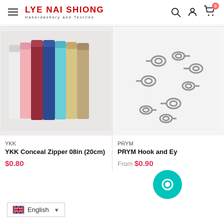LYE NAI SHIONG Haberdashery and Textiles
[Figure (photo): Multiple colorful YKK concealed zippers arranged side by side, showing various colors including white, pink, red/maroon, navy blue, teal, yellow/beige, and tan/brown.]
YKK
YKK Conceal Zipper 08in (20cm)
$0.80
[Figure (photo): PRYM hooks and eyes fasteners, small metal clasps scattered on a white background, partially cropped on right side.]
PRYM
PRYM Hook and Ey...
From $0.90